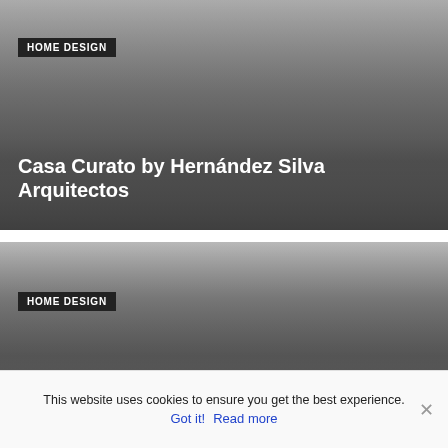[Figure (photo): Architecture/home design card with dark gradient overlay showing first article]
HOME DESIGN
Casa Curato by Hernández Silva Arquitectos
[Figure (photo): Architecture/home design card with dark gradient overlay showing second article]
HOME DESIGN
The Quiet House located on tiny plot of land with a gorgeous view on the Hérault Valley
[Figure (photo): Photo strip showing greenery and building exterior]
This website uses cookies to ensure you get the best experience.
Got it!  Read more